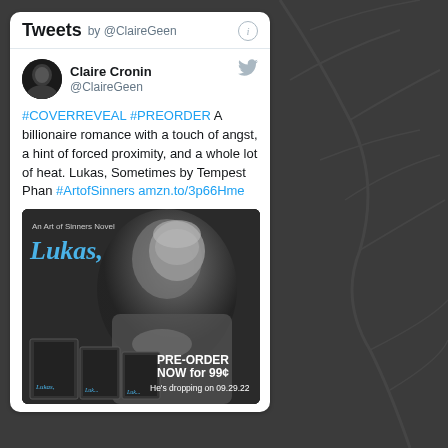[Figure (screenshot): Dark background with tree branch silhouettes]
Tweets by @ClaireGeen
Claire Cronin @ClaireGeen
#COVERREVEAL #PREORDER A billionaire romance with a touch of angst, a hint of forced proximity, and a whole lot of heat. Lukas, Sometimes by Tempest Phan #ArtofSinners amzn.to/3p66Hme
[Figure (illustration): Book cover for 'Lukas, Sometimes' - An Art of Sinners Novel. Shows a man in a grey sweater. Text: PRE-ORDER NOW for 99¢ He's dropping on 09.29.22]